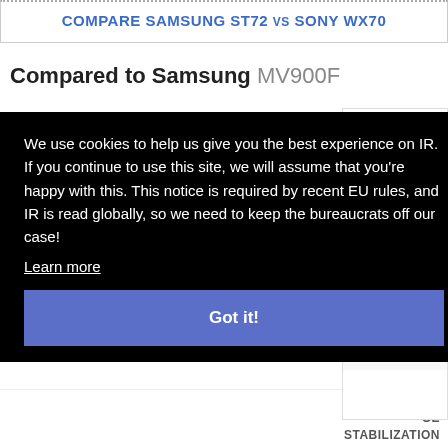COMPARE SAMSUNG ST72 vs SONY WX70
Compared to Samsung MV900F
We use cookies to help us give you the best experience on IR. If you continue to use this site, we will assume that you're happy with this. This notice is required by recent EU rules, and IR is read globally, so we need to keep the bureaucrats off our case!
Learn more
Got it!
GE STABILIZATION